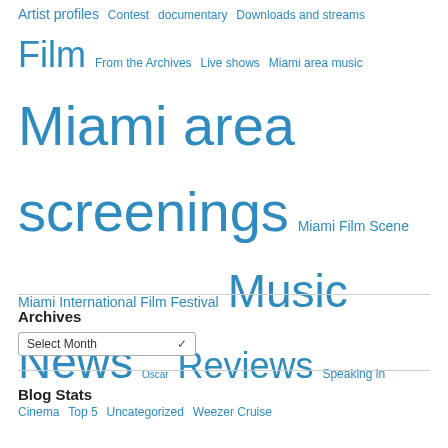Artist profiles  Contest  documentary  Downloads and streams  Film  From the Archives  Live shows  Miami area music  Miami area screenings  Miami Film Scene  Miami International Film Festival  Music News  Oscar  Reviews  Speaking in Cinema  Top 5  Uncategorized  Weezer Cruise
Archives
Select Month
Blog Stats